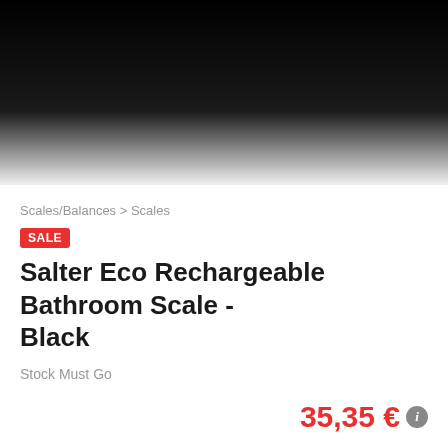[Figure (photo): Product image showing a dark/black bathroom scale against a white background, cropped at top]
Scales/Balances > Scales
SALE
Salter Eco Rechargeable Bathroom Scale - Black
Stock Must Go
35,35 €
2 weeks   Staffordshire, United Kingdom